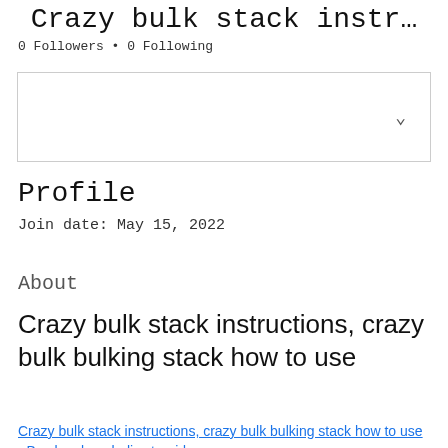Crazy bulk stack instr…
0 Followers • 0 Following
[Figure (other): Dropdown/selector box with chevron arrow pointing downward]
Profile
Join date: May 15, 2022
About
Crazy bulk stack instructions, crazy bulk bulking stack how to use
Crazy bulk stack instructions, crazy bulk bulking stack how to use - Buy legal anabolic steroids